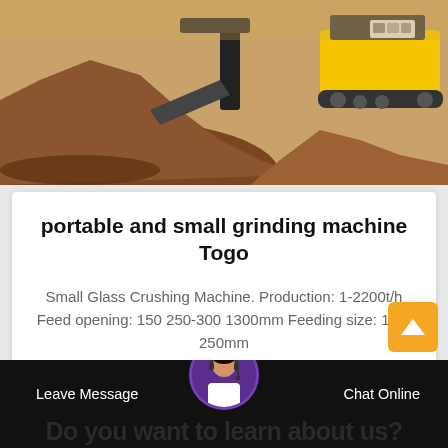[Figure (photo): Industrial portable crusher/grinding machine (yellow tracked vehicle) processing material on a sandy/dirt construction or mining site]
portable and small grinding machine Togo
Small Glass Crushing Machine. Production: 1-2200t/h Feed opening: 150 250-300 1300mm Feeding size: 125-250mm
Leave Message
Chat Online
Do you want to learn about us?